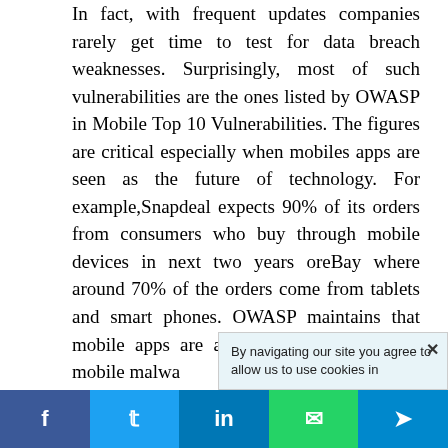In fact, with frequent updates companies rarely get time to test for data breach weaknesses. Surprisingly, most of such vulnerabilities are the ones listed by OWASP in Mobile Top 10 Vulnerabilities. The figures are critical especially when mobiles apps are seen as the future of technology. For example,Snapdeal expects 90% of its orders from consumers who buy through mobile devices in next two years oreBay where around 70% of the orders come from tablets and smart phones. OWASP maintains that mobile apps are as v as web apps. Often mobile malwa
[Figure (other): Cookie consent popup: 'By navigating our site you agree to allow us to use cookies in...']
f  t  in  [whatsapp icon]  [telegram icon]